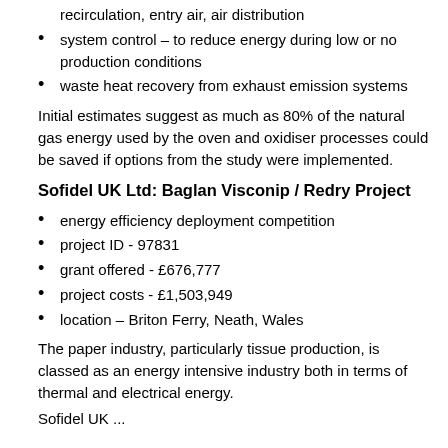recirculation, entry air, air distribution
system control – to reduce energy during low or no production conditions
waste heat recovery from exhaust emission systems
Initial estimates suggest as much as 80% of the natural gas energy used by the oven and oxidiser processes could be saved if options from the study were implemented.
Sofidel UK Ltd: Baglan Visconip / Redry Project
energy efficiency deployment competition
project ID - 97831
grant offered - £676,777
project costs - £1,503,949
location – Briton Ferry, Neath, Wales
The paper industry, particularly tissue production, is classed as an energy intensive industry both in terms of thermal and electrical energy.
Sofidel UK...